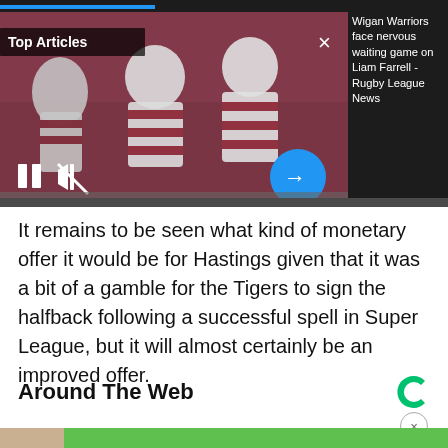[Figure (photo): Dark banner with rugby players celebrating on the left (white and maroon hooped jerseys on a reddish background), overlaid with 'Top Articles' label, pause icon, mute icon, close X, and a blue circular arrow button. To the right is headline text on dark background.]
Wigan Warriors face nervous waiting game on Liam Farrell - Rugby League News
It remains to be seen what kind of monetary offer it would be for Hastings given that it was a bit of a gamble for the Tigers to sign the halfback following a successful spell in Super League, but it will almost certainly be an improved offer.
Around The Web
[Figure (photo): Advertisement image showing the bottom portion beginning to appear — a woman with blonde hair against a green/yellow background with decorative items]